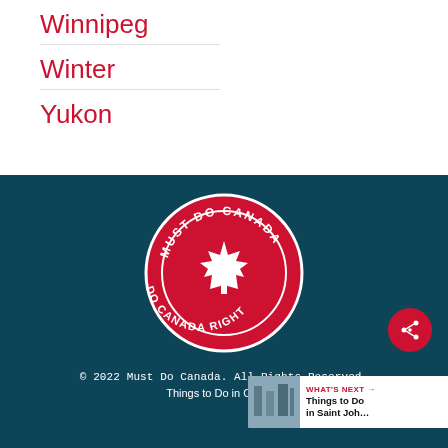Winnipeg
Winter
Yukon
[Figure (logo): Must Do Canada circular logo — red circle with white maple leaf in center and text 'MUST DO CANADA' along the top arc, 'DO CANADA RIGHT' along the bottom arc, on a dark teal background.]
© 2022 Must Do Canada. All Rights Reserved.
Things to Do in Canada